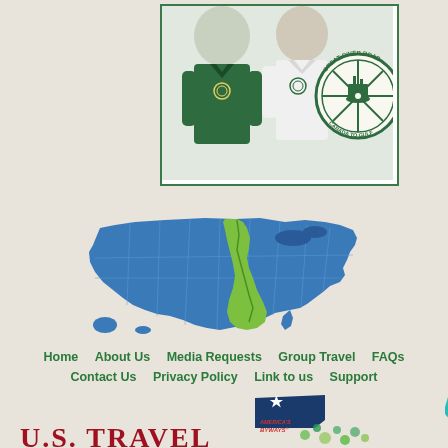[Figure (photo): Two people wearing polo shirts with Great River Road logo - one green shirt, one white shirt. A circular Great River Road logo (Canada to Gulf) is shown to the right.]
[Figure (map): Map of the United States with states highlighted in blue, and Mississippi River corridor states highlighted in green, showing the Great River Road route.]
Home   About Us   Media Requests   Group Travel   FAQs   Contact Us   Privacy Policy   Link to us   Support
[Figure (logo): America's Byways logo - dark blue banner with white star]
[Figure (logo): Mississippi River Country logo - teal map of USA with colorful text]
[Figure (logo): U.S. Travel logo in red serif font with decorative element]